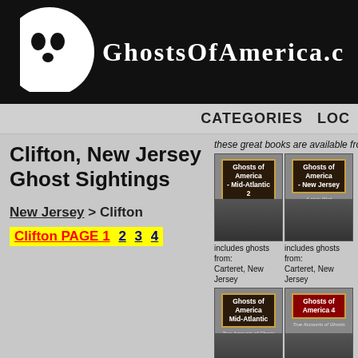GhostsOfAmerica.com
Clifton, New Jersey Ghost Sightings
New Jersey > Clifton
Clifton PAGE 1  2  3  4
these great books are available from
[Figure (photo): Book cover: Ghosts of America - Mid-Atlantic 2]
[Figure (photo): Book cover: Ghosts of America - New Jersey]
includes ghosts from: Carteret, New Jersey
includes ghosts from: Carteret, New Jersey
[Figure (photo): Book cover: Ghosts of America Mid-Atlantic]
[Figure (photo): Book cover: Ghosts of America 4]